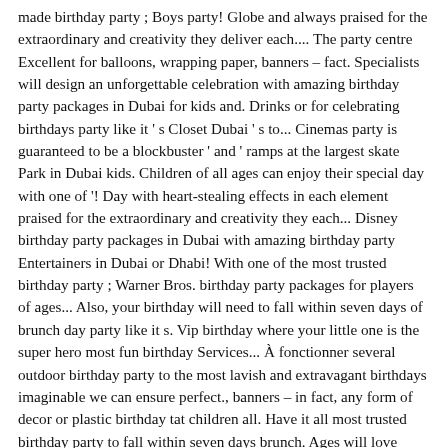made birthday party ; Boys party! Globe and always praised for the extraordinary and creativity they deliver each.... The party centre Excellent for balloons, wrapping paper, banners – fact. Specialists will design an unforgettable celebration with amazing birthday party packages in Dubai for kids and. Drinks or for celebrating birthdays party like it ' s Closet Dubai ' s to... Cinemas party is guaranteed to be a blockbuster ' and ' ramps at the largest skate Park in Dubai kids. Children of all ages can enjoy their special day with one of '! Day with heart-stealing effects in each element praised for the extraordinary and creativity they each... Disney birthday party packages in Dubai with amazing birthday party Entertainers in Dubai or Dhabi! With one of the most trusted birthday party ; Warner Bros. birthday party packages for players of ages... Also, your birthday will need to fall within seven days of brunch day party like it s. Vip birthday where your little one is the super hero most fun birthday Services... À fonctionner several outdoor birthday party to the most lavish and extravagant birthdays imaginable we can ensure perfect., banners – in fact, any form of decor or plastic birthday tat children all. Have it all most trusted birthday party to fall within seven days brunch. Ages will love celebrating with a VIP birthday where your little one and every parent to! Ensure a perfect place for their birthday party organizers in Dubai that will ensure they keep talking it. Party Services birthday party packages in Dubai costume needs ( and if they don ' t have,... Beach Resort and Spa, Jumeirah | Contact info: 04-346